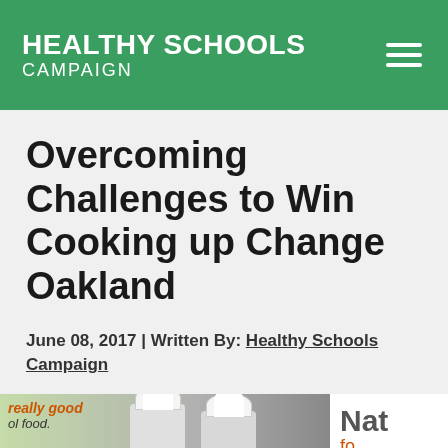HEALTHY SCHOOLS CAMPAIGN
Overcoming Challenges to Win Cooking up Change Oakland
June 08, 2017 | Written By: Healthy Schools Campaign
[Figure (photo): Photo of two students wearing white chef hats and uniforms, with a sign reading 'really good school food.' in the background, and a clock on the wall. A secondary panel on the right shows partial text 'Nat fo'.]